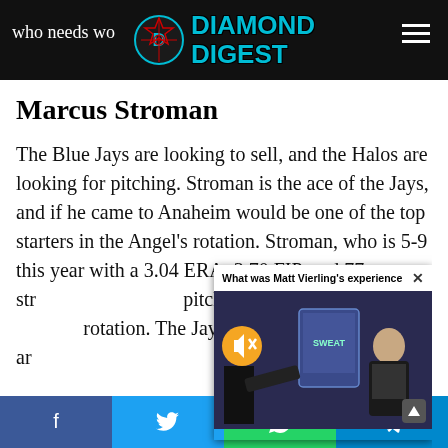Diamond Digest — who needs wo...
Marcus Stroman
The Blue Jays are looking to sell, and the Halos are looking for pitching. Stroman is the ace of the Jays, and if he came to Anaheim would be one of the top starters in the Angel's rotation. Stroman, who is 5-9 this year with a 3.04 ERA, 3.70 FIP, and 77 str[ikeouts in X innings] pitched, would fit i[n the Angels'] rotation. The Jays a[re] looking to build ar[ound young talent]
[Figure (screenshot): Embedded video player overlay showing 'What was Matt Vierling's experience lik...' with a TV studio background showing SWEAT branding and a male presenter]
Social share buttons: Facebook, Twitter, WhatsApp, Telegram